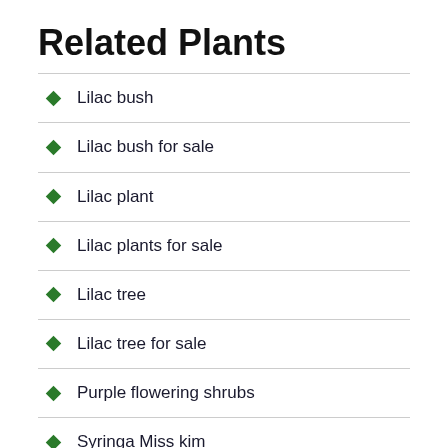Related Plants
Lilac bush
Lilac bush for sale
Lilac plant
Lilac plants for sale
Lilac tree
Lilac tree for sale
Purple flowering shrubs
Syringa Miss kim